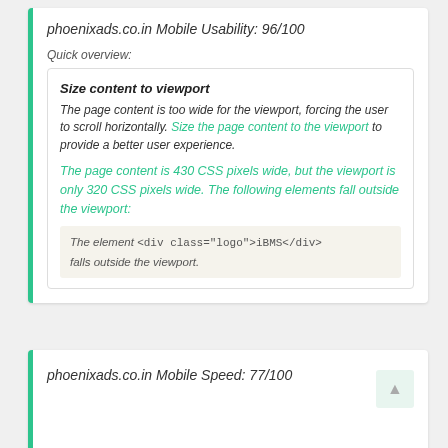phoenixads.co.in Mobile Usability: 96/100
Quick overview:
Size content to viewport
The page content is too wide for the viewport, forcing the user to scroll horizontally. Size the page content to the viewport to provide a better user experience.
The page content is 430 CSS pixels wide, but the viewport is only 320 CSS pixels wide. The following elements fall outside the viewport:
The element <div class="logo">iBMS</div> falls outside the viewport.
phoenixads.co.in Mobile Speed: 77/100